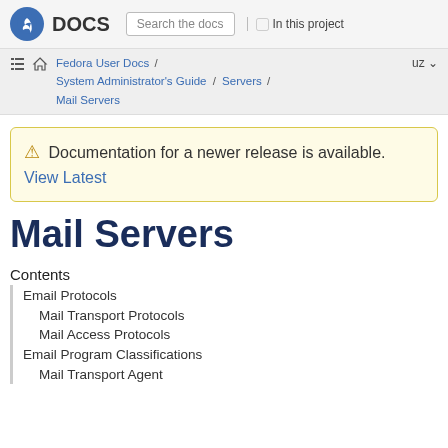Fedora DOCS | Search the docs | In this project
Fedora User Docs / System Administrator's Guide / Servers / Mail Servers  uz
⚠ Documentation for a newer release is available. View Latest
Mail Servers
Contents
Email Protocols
Mail Transport Protocols
Mail Access Protocols
Email Program Classifications
Mail Transport Agent